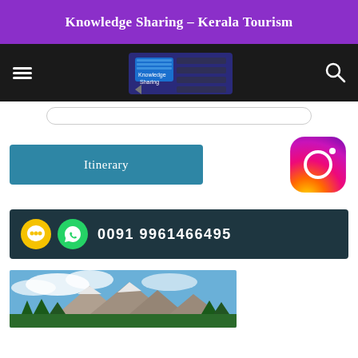Knowledge Sharing – Kerala Tourism
[Figure (screenshot): Navigation bar with hamburger menu icon on left, Knowledge Sharing keyboard image in center-left, and search icon on right, on a dark background]
[Figure (screenshot): Search input box with rounded border]
[Figure (screenshot): Teal/blue Itinerary button]
[Figure (logo): Instagram logo icon with gradient colors (purple, pink, orange)]
[Figure (infographic): Dark teal banner with Quicko and WhatsApp icons and phone number 0091 9961466495 in white text]
[Figure (photo): Mountain landscape with clouds, green trees in foreground, rocky peaks under blue sky — Kerala tourism scenery]